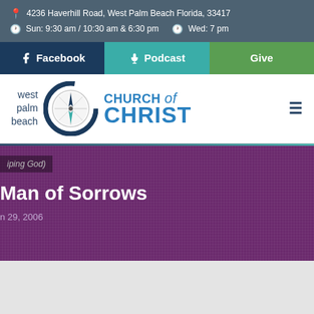4236 Haverhill Road, West Palm Beach Florida, 33417
Sun: 9:30 am / 10:30 am & 6:30 pm   Wed: 7 pm
Facebook  Podcast  Give
[Figure (logo): West Palm Beach Church of Christ logo with compass rose icon]
(iping God)
Man of Sorrows
n 29, 2006